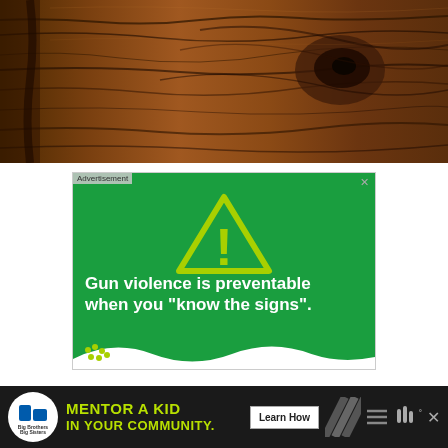[Figure (photo): Close-up photograph of dark brown wood grain texture with knots and natural grain patterns]
[Figure (infographic): Green advertisement banner with yellow warning triangle exclamation icon and white bold text reading 'Gun violence is preventable when you "know the signs".' with wavy white bottom border and small cluster of green dots logo. Contains 'Advertisement' label and X close button.]
[Figure (infographic): Black bottom banner advertisement for Big Brothers Big Sisters: 'MENTOR A KID IN YOUR COMMUNITY.' with Learn How button, close button, diagonal stripe graphic, hamburger menu icon, and weather icon.]